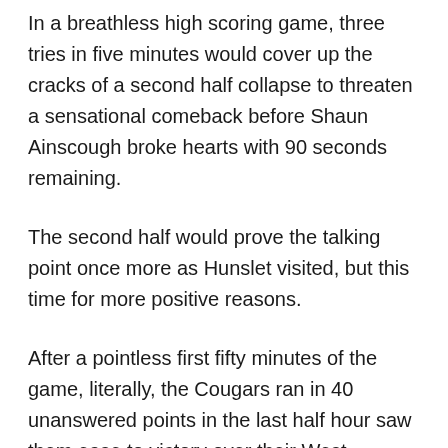In a breathless high scoring game, three tries in five minutes would cover up the cracks of a second half collapse to threaten a sensational comeback before Shaun Ainscough broke hearts with 90 seconds remaining.
The second half would prove the talking point once more as Hunslet visited, but this time for more positive reasons.
After a pointless first fifty minutes of the game, literally, the Cougars ran in 40 unanswered points in the last half hour saw them ease to victory over their West Yorkshire rivals.
Another trip to Cumbria to face Workington followed, but Chris Thorman's side had too much on the afternoon to win 34-20, however Josh Slingsby would be a star on the day and he would be front runner for the club's top...